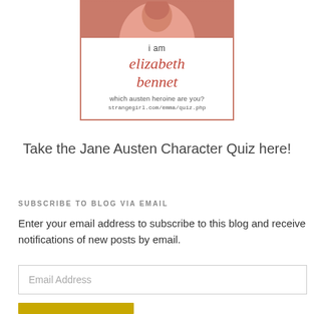[Figure (illustration): Quiz badge image showing a woman in period clothing at the top, with text 'i am elizabeth bennet — which austen heroine are you? strangegirl.com/emma/quiz.php' on a white background with salmon/coral border]
Take the Jane Austen Character Quiz here!
SUBSCRIBE TO BLOG VIA EMAIL
Enter your email address to subscribe to this blog and receive notifications of new posts by email.
Email Address